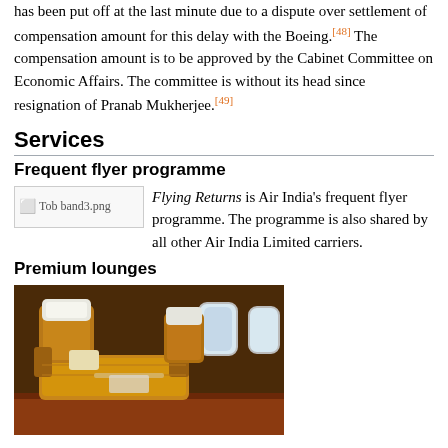has been put off at the last minute due to a dispute over settlement of compensation amount for this delay with the Boeing.[48] The compensation amount is to be approved by the Cabinet Committee on Economic Affairs. The committee is without its head since resignation of Pranab Mukherjee.[49]
Services
Frequent flyer programme
Flying Returns is Air India's frequent flyer programme. The programme is also shared by all other Air India Limited carriers.
Premium lounges
[Figure (photo): Interior of Air India aircraft showing business class / premium seats with gold/brown leather recliner seats, white headrest covers, and aircraft windows in background.]